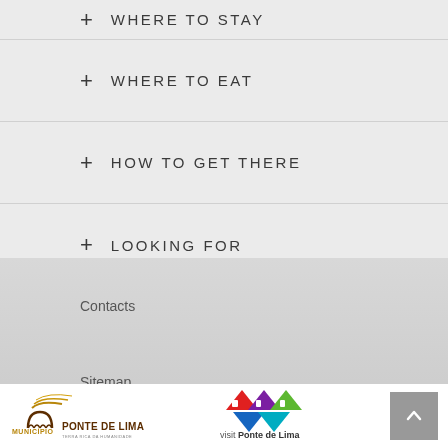+ WHERE TO STAY
+ WHERE TO EAT
+ HOW TO GET THERE
+ LOOKING FOR
Contacts
Sitemap
[Figure (logo): Município Ponte de Lima logo with arch bridge icon and golden swoosh lines]
[Figure (logo): Visit Ponte de Lima logo with colorful triangular shapes]
[Figure (other): Back to top button with upward arrow on grey background]